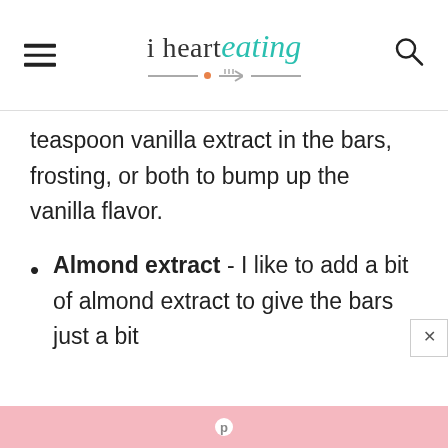i heart eating
teaspoon vanilla extract in the bars, frosting, or both to bump up the vanilla flavor.
Almond extract - I like to add a bit of almond extract to give the bars just a bit